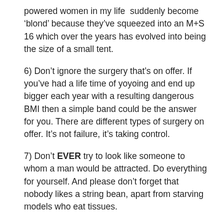powered women in my life  suddenly become ‘blond’ because they’ve squeezed into an M+S 16 which over the years has evolved into being the size of a small tent.
6) Don’t ignore the surgery that’s on offer. If you’ve had a life time of yoyoing and end up bigger each year with a resulting dangerous BMI then a simple band could be the answer for you. There are different types of surgery on offer. It’s not failure, it’s taking control.
7) Don’t EVER try to look like someone to whom a man would be attracted. Do everything for yourself. And please don’t forget that nobody likes a string bean, apart from starving models who eat tissues.
8) Don’t obsess about your weight. OBSESSION often leads to failure and makes you a very dull person indeed. I firmly believe in the 80/20 rule. Try and look after yourself 80 percent of the time and relax for 20. That doesn’t mean binge, by the way.
9) Don’t be afraid to join a support group. If you’re with others, encouraging each other, it can only be a good thing. Weight Watchers allows you to indulge your love of food – we are not